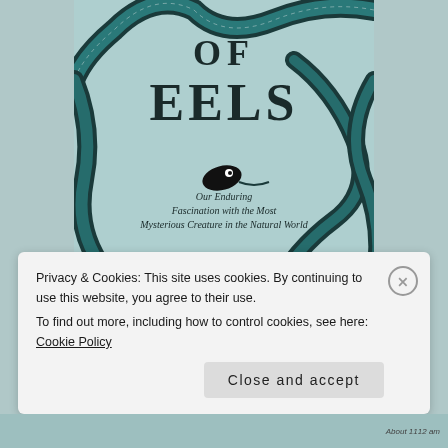[Figure (illustration): Book cover of 'The Book of Eels' by Patrik Svensson. Light teal/blue background with large illustrated eels in black and teal wrapping around the cover. Title 'OF EELS' in large dark block letters in center-top. Subtitle 'Our Enduring Fascination with the Most Mysterious Creature in the Natural World' in italic script. Author name 'PATRIK SVENSSON' in large bold letters at bottom.]
Privacy & Cookies: This site uses cookies. By continuing to use this website, you agree to their use.
To find out more, including how to control cookies, see here: Cookie Policy
Close and accept